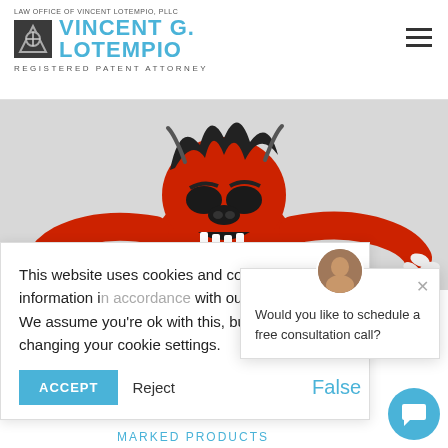LAW OFFICE OF VINCENT LOTEMPIO, PLLC — VINCENT G. LOTEMPIO — REGISTERED PATENT ATTORNEY
[Figure (illustration): Red cartoon monster/devil character with arms outstretched, dark spiky hair, showing teeth, on a grey background]
This website uses cookies and collects information in accordance with our privacy policy. We assume you're ok with this, but you can opt out by changing your cookie settings.
ACCEPT   Reject   False
Would you like to schedule a free consultation call?
Marked Products